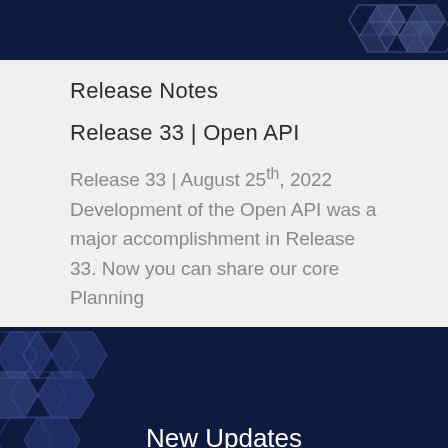[Figure (illustration): Dark navy blue banner header with hexagonal pattern decoration on the right side]
Release Notes
Release 33 | Open API
Release 33 | August 25th, 2022 Development of the Open API was a major accomplishment in Release 33. Now you can share our core Planning
[Figure (illustration): Dark navy blue banner with hexagonal pattern on the left side showing text: New Updates Release 33 Summary]